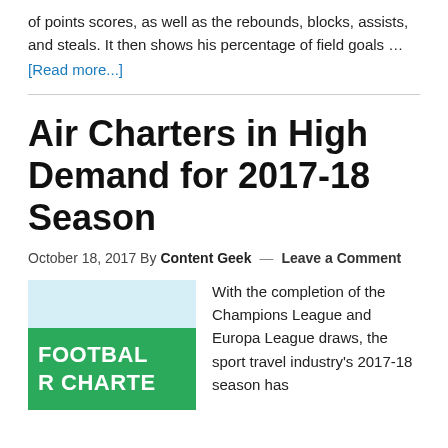of points scores, as well as the rebounds, blocks, assists, and steals. It then shows his percentage of field goals …
[Read more...]
Air Charters in High Demand for 2017-18 Season
October 18, 2017 By Content Geek — Leave a Comment
[Figure (photo): Football charter image with green background showing text 'FOOTBALL R CHARTE']
With the completion of the Champions League and Europa League draws, the sport travel industry's 2017-18 season has